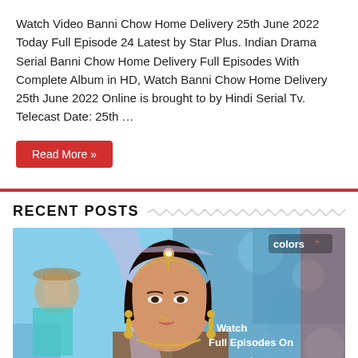Watch Video Banni Chow Home Delivery 25th June 2022 Today Full Episode 24 Latest by Star Plus. Indian Drama Serial Banni Chow Home Delivery Full Episodes With Complete Album in HD, Watch Banni Chow Home Delivery 25th June 2022 Online is brought to by Hindi Serial Tv. Telecast Date: 25th …
Read More »
RECENT POSTS
[Figure (photo): Promotional image for Indian TV drama 'Udaariyaan' (Colors TV). A woman in bridal attire with heavy gold jewelry and dupatta looks forward. Text overlay on right side reads: 'colors+', 'Watch Full Episodes On', 'voot', 'DOWNLOAD NOW'. Show title in Hindi script at bottom left.]